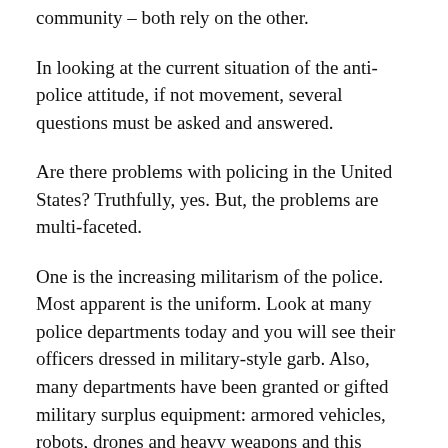community – both rely on the other.
In looking at the current situation of the anti-police attitude, if not movement, several questions must be asked and answered.
Are there problems with policing in the United States? Truthfully, yes. But, the problems are multi-faceted.
One is the increasing militarism of the police. Most apparent is the uniform. Look at many police departments today and you will see their officers dressed in military-style garb. Also, many departments have been granted or gifted military surplus equipment: armored vehicles, robots, drones and heavy weapons and this equipment is seemingly used or deployed